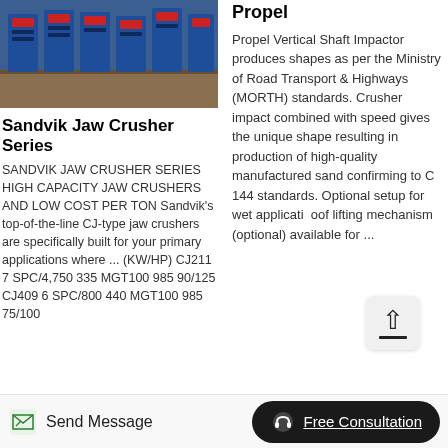[Figure (photo): Row of blue industrial jaw crusher machines in a factory/yard setting, viewed from front, with brown floor visible below.]
Sandvik Jaw Crusher Series
SANDVIK JAW CRUSHER SERIES HIGH CAPACITY JAW CRUSHERS AND LOW COST PER TON Sandvik's top-of-the-line CJ-type jaw crushers are specifically built for your primary applications where ... (KW/HP) CJ211 7 SPC/4,750 335 MGT100 985 90/125 CJ409 6 SPC/800 440 MGT100 985 75/100
Propel
Propel Vertical Shaft Impactor produces shapes as per the Ministry of Road Transport & Highways (MORTH) standards. Crusher impact combined with speed gives the unique shape resulting in production of high-quality manufactured sand confirming to C 144 standards. Optional setup for wet applicati... roof lifting mechanism (optional) available for ...